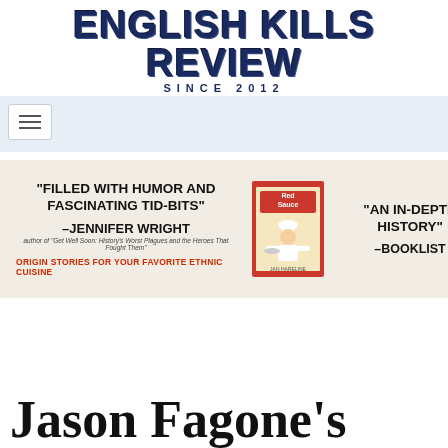ENGLISH KILLS REVIEW
SINCE 2012
[Figure (screenshot): Navigation bar with hamburger menu icon on light blue background]
[Figure (infographic): Advertisement banner for Red Sauce book. Left side: quote 'FILLED WITH HUMOR AND FASCINATING TID-BITS' attributed to Jennifer Wright, author of 'Get Well Soon: History's Worst Plagues and the Heroes That Fought Them'. Center: Red Sauce book cover illustration showing chef. Right side: quote 'AN IN-DEPTH HISTORY' attributed to Booklist. Bottom left: 'ORIGIN STORIES FOR YOUR FAVORITE ETHNIC CUISINE' in orange.]
Jason Fagone's